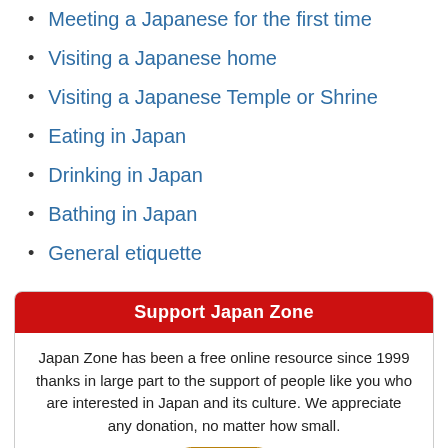Meeting a Japanese for the first time
Visiting a Japanese home
Visiting a Japanese Temple or Shrine
Eating in Japan
Drinking in Japan
Bathing in Japan
General etiquette
Support Japan Zone
Japan Zone has been a free online resource since 1999 thanks in large part to the support of people like you who are interested in Japan and its culture. We appreciate any donation, no matter how small.
[Figure (other): Donate button (PayPal-style golden pill button with italic bold 'Donate' text)]